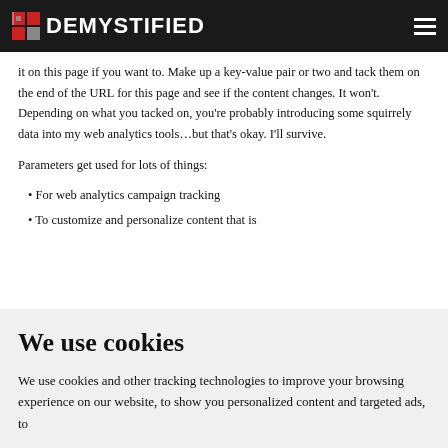DEMYSTIFIED
it on this page if you want to. Make up a key-value pair or two and tack them on the end of the URL for this page and see if the content changes. It won't. Depending on what you tacked on, you're probably introducing some squirrely data into my web analytics tools…but that's okay. I'll survive.
Parameters get used for lots of things:
For web analytics campaign tracking
To customize and personalize content that is
We use cookies
We use cookies and other tracking technologies to improve your browsing experience on our website, to show you personalized content and targeted ads, to